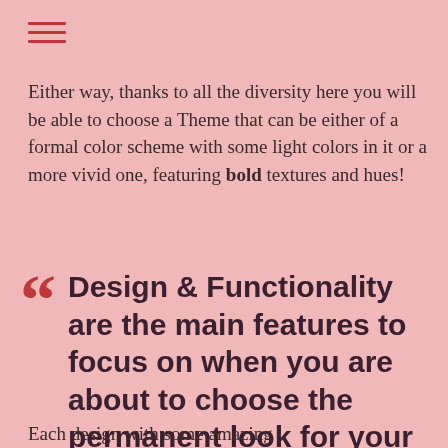≡
Either way, thanks to all the diversity here you will be able to choose a Theme that can be either of a formal color scheme with some light colors in it or a more vivid one, featuring bold textures and hues!
Design & Functionality are the main features to focus on when you are about to choose the permanent look for your website!
Each design with some amazing...